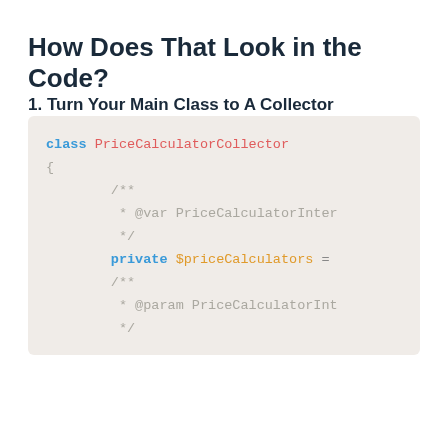How Does That Look in the Code?
1. Turn Your Main Class to A Collector
[Figure (screenshot): Code block showing PHP class definition for PriceCalculatorCollector with syntax highlighting. Blue keywords: class, private. Red class name: PriceCalculatorCollector. Orange variable: $priceCalculators. Gray comments: /** * @var PriceCalculatorInter */ and /** * @param PriceCalculatorInt */]